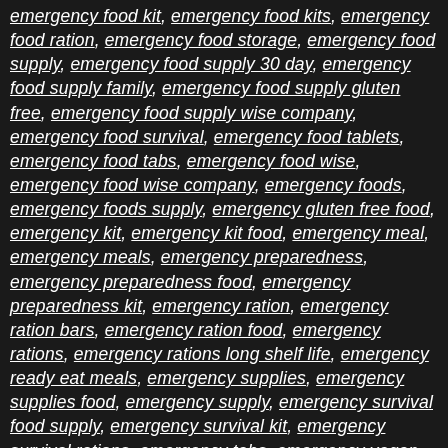emergency food kit, emergency food kits, emergency food ration, emergency food storage, emergency food supply, emergency food supply 30 day, emergency food supply family, emergency food supply gluten free, emergency food supply wise company, emergency food survival, emergency food tablets, emergency food tabs, emergency food wise, emergency food wise company, emergency foods, emergency foods supply, emergency gluten free food, emergency kit, emergency kit food, emergency meal, emergency meals, emergency preparedness, emergency preparedness food, emergency preparedness kit, emergency ration, emergency ration bars, emergency ration food, emergency rations, emergency rations long shelf life, emergency ready eat meals, emergency supplies, emergency supplies food, emergency supply, emergency survival food supply, emergency survival kit, emergency survival rations, emergency tabs, emergency vegan food supply, emergency water, emergency water pouches, family survival food, food 30 day supply, food bars emergency, food bars survival, food emergency kit, food emergency supply,